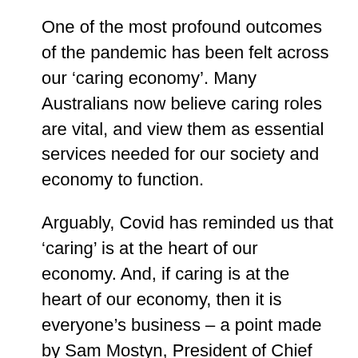One of the most profound outcomes of the pandemic has been felt across our ‘caring economy’. Many Australians now believe caring roles are vital, and view them as essential services needed for our society and economy to function.
Arguably, Covid has reminded us that ‘caring’ is at the heart of our economy. And, if caring is at the heart of our economy, then it is everyone’s business – a point made by Sam Mostyn, President of Chief Executive Women in an address to the National Press Club early this year.
[partially visible text continues below]